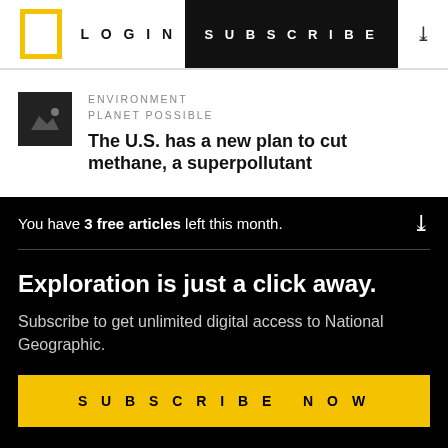LOGIN  SUBSCRIBE
ENVIRONMENT
PLANET POSSIBLE
The U.S. has a new plan to cut methane, a superpollutant
You have 3 free articles left this month.
Exploration is just a click away.
Subscribe to get unlimited digital access to National Geographic.
SUBSCRIBE NOW